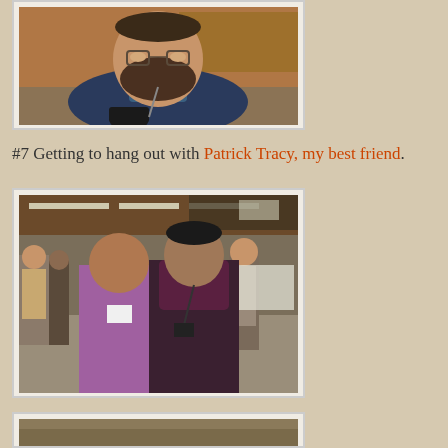[Figure (photo): Close-up photo of a bearded man wearing glasses and a blue shirt, holding a black mug in what appears to be an indoor setting]
#7 Getting to hang out with Patrick Tracy, my best friend.
[Figure (photo): Photo of a woman in a purple top and a man in a dark jacket standing together in what appears to be a conference center hallway with other people in the background]
[Figure (photo): Partially visible photo at the bottom of the page]